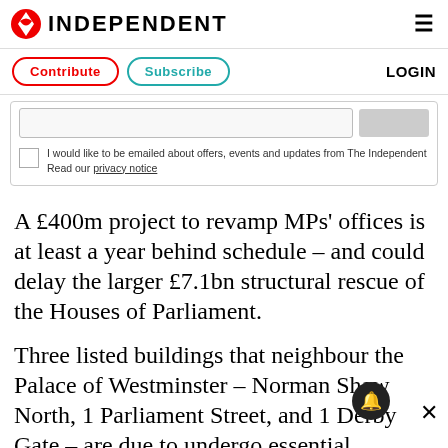INDEPENDENT
Contribute   Subscribe   LOGIN
I would like to be emailed about offers, events and updates from The Independent Read our privacy notice
A £400m project to revamp MPs' offices is at least a year behind schedule – and could delay the larger £7.1bn structural rescue of the Houses of Parliament.
Three listed buildings that neighbour the Palace of Westminster – Norman Shaw North, 1 Parliament Street, and 1 Derby Gate – are due to undergo essential refurbishment. They are